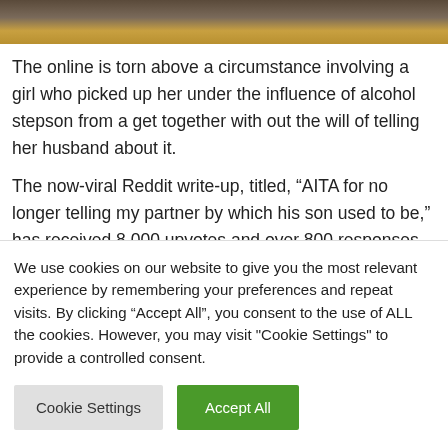[Figure (photo): Partial photo strip showing people, with orange/brown tones visible at top of page]
The online is torn above a circumstance involving a girl who picked up her under the influence of alcohol stepson from a get together with out the will of telling her husband about it.
The now-viral Reddit write-up, titled, “AITA for no longer telling my partner by which his son used to be,” has received 8,000 upvotes and over 800 responses. The publish used to be shared to the subreddit “Am I The
We use cookies on our website to give you the most relevant experience by remembering your preferences and repeat visits. By clicking “Accept All”, you consent to the use of ALL the cookies. However, you may visit "Cookie Settings" to provide a controlled consent.
Cookie Settings
Accept All